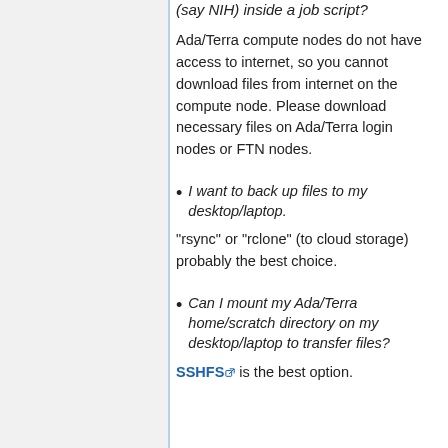(say NIH) inside a job script?
Ada/Terra compute nodes do not have access to internet, so you cannot download files from internet on the compute node. Please download necessary files on Ada/Terra login nodes or FTN nodes.
I want to back up files to my desktop/laptop.
"rsync" or "rclone" (to cloud storage) probably the best choice.
Can I mount my Ada/Terra home/scratch directory on my desktop/laptop to transfer files?
SSHFS is the best option.